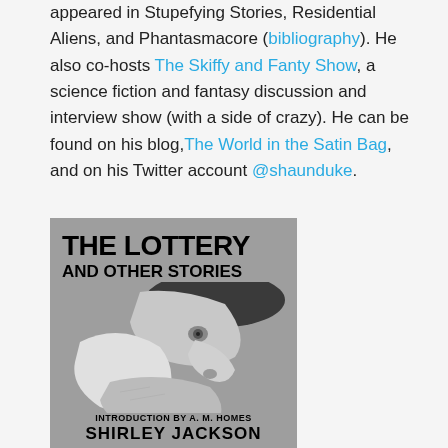appeared in Stupefying Stories, Residential Aliens, and Phantasmacore (bibliography). He also co-hosts The Skiffy and Fanty Show, a science fiction and fantasy discussion and interview show (with a side of crazy). He can be found on his blog, The World in the Satin Bag, and on his Twitter account @shaunduke.
[Figure (photo): Book cover of 'The Lottery and Other Stories' by Shirley Jackson. Gray background with fragmented black-and-white face imagery. Bold black title text at top. Bottom text reads 'Introduction by A.M. Homes' and 'Shirley Jackson'.]